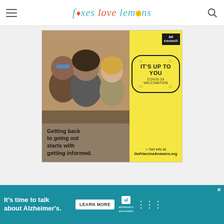foxes love lemons
[Figure (screenshot): COVID-19 vaccination ad council advertisement: 'Getting back to going out starts with getting informed.' with 'IT'S UP TO YOU COVID-19 VACCINATION' badge and 'Get info at GetVaccineAnswers.org']
[Figure (screenshot): Alzheimer's Association advertisement: 'It's time to talk about Alzheimer's.' with 'LEARN MORE' button and alzheimers.org logo]